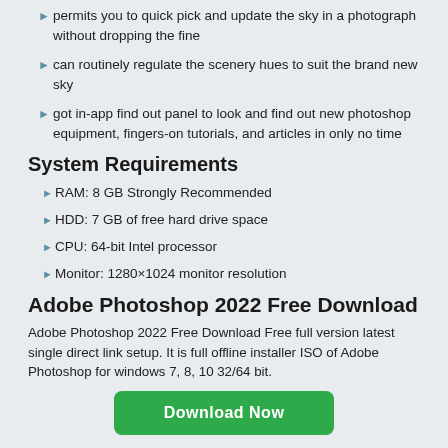permits you to quick pick and update the sky in a photograph without dropping the fine
can routinely regulate the scenery hues to suit the brand new sky
got in-app find out panel to look and find out new photoshop equipment, fingers-on tutorials, and articles in only no time
System Requirements
RAM: 8 GB Strongly Recommended
HDD: 7 GB of free hard drive space
CPU: 64-bit Intel processor
Monitor: 1280×1024 monitor resolution
Adobe Photoshop 2022 Free Download
Adobe Photoshop 2022 Free Download Free full version latest single direct link setup. It is full offline installer ISO of Adobe Photoshop for windows 7, 8, 10 32/64 bit.
Download Now